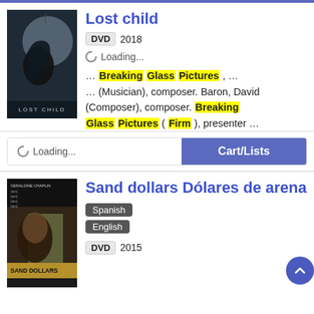[Figure (photo): Movie poster for Lost Child — dark moody silhouette of a woman's profile with a bare tree, text LOST CHILD at bottom]
Lost child
DVD  2018
Loading...
... Breaking Glass Pictures , ... ... (Musician), composer. Baron, David (Composer), composer. Breaking Glass Pictures ( Firm ), presenter ...
Loading...   Cart/Lists
[Figure (photo): Movie poster for Sand Dollars / Dólares de arena — portrait of a woman with text GERALDINE CHAPLIN and SAND DOLLARS]
Sand dollars Dólares de arena
Spanish
English
DVD  2015